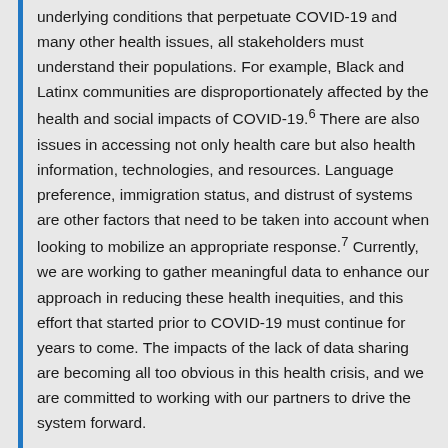underlying conditions that perpetuate COVID-19 and many other health issues, all stakeholders must understand their populations. For example, Black and Latinx communities are disproportionately affected by the health and social impacts of COVID-19.6 There are also issues in accessing not only health care but also health information, technologies, and resources. Language preference, immigration status, and distrust of systems are other factors that need to be taken into account when looking to mobilize an appropriate response.7 Currently, we are working to gather meaningful data to enhance our approach in reducing these health inequities, and this effort that started prior to COVID-19 must continue for years to come. The impacts of the lack of data sharing are becoming all too obvious in this health crisis, and we are committed to working with our partners to drive the system forward.